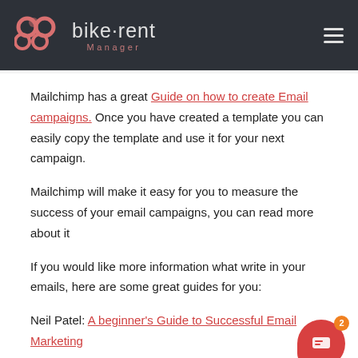bike·rent Manager
Mailchimp has a great Guide on how to create Email campaigns. Once you have created a template you can easily copy the template and use it for your next campaign.
Mailchimp will make it easy for you to measure the success of your email campaigns, you can read more about it
If you would like more information what write in your emails, here are some great guides for you:
Neil Patel: A beginner's Guide to Successful Email Marketing